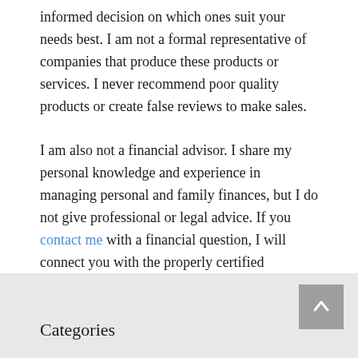informed decision on which ones suit your needs best. I am not a formal representative of companies that produce these products or services. I never recommend poor quality products or create false reviews to make sales.
I am also not a financial advisor. I share my personal knowledge and experience in managing personal and family finances, but I do not give professional or legal advice. If you contact me with a financial question, I will connect you with the properly certified professionals.
Categories